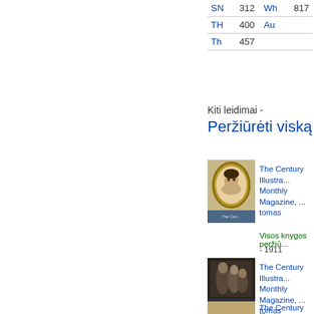| SN | 312 | Wh | 817 |
| TH | 400 | Au |  |
| Th | 457 |  |  |
Kiti leidimai - Peržiūrėti viską
[Figure (illustration): Book cover thumbnail with oval portrait of a man]
The Century Illustra... Monthly Magazine, ... tomas
Visos knygos peržiū...
- 1911
[Figure (illustration): Book cover thumbnail with group portrait photo, dark background]
The Century Illustra... Monthly Magazine, ... tomas
Visos knygos peržiū...
- 1889
[Figure (illustration): Book cover thumbnail (partial, cut off at bottom)]
The Century Illustra...